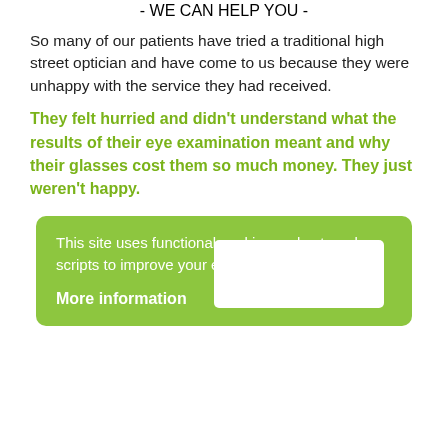- WE CAN HELP YOU -
So many of our patients have tried a traditional high street optician and have come to us because they were unhappy with the service they had received.
They felt hurried and didn't understand what the results of their eye examination meant and why their glasses cost them so much money. They just weren't happy.
This site uses functional cookies and external scripts to improve your experience.

More information